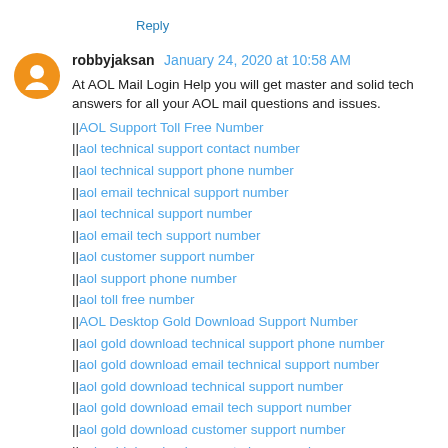Reply
robbyjaksan January 24, 2020 at 10:58 AM
At AOL Mail Login Help you will get master and solid tech answers for all your AOL mail questions and issues.
||AOL Support Toll Free Number
||aol technical support contact number
||aol technical support phone number
||aol email technical support number
||aol technical support number
||aol email tech support number
||aol customer support number
||aol support phone number
||aol toll free number
||AOL Desktop Gold Download Support Number
||aol gold download technical support phone number
||aol gold download email technical support number
||aol gold download technical support number
||aol gold download email tech support number
||aol gold download customer support number
||aol gold download support phone number